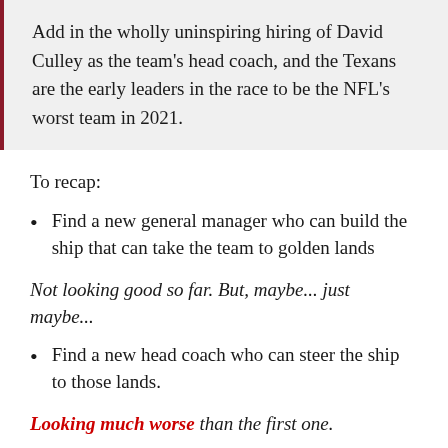Add in the wholly uninspiring hiring of David Culley as the team's head coach, and the Texans are the early leaders in the race to be the NFL's worst team in 2021.
To recap:
Find a new general manager who can build the ship that can take the team to golden lands
Not looking good so far. But, maybe... just maybe...
Find a new head coach who can steer the ship to those lands.
Looking much worse than the first one.
Keep your player equivalent of the golden egg